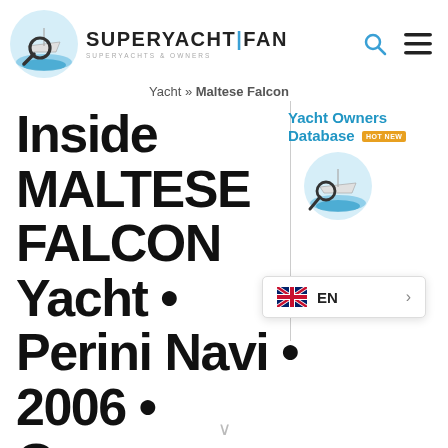[Figure (logo): SuperYachtFan logo with magnifying glass over yacht and waves, blue color scheme, with text SUPERYACHT|FAN and subtitle SUPERYACHTS & OWNERS]
Yacht » Maltese Falcon
[Figure (logo): Yacht Owners Database promotional box with hot badge and yacht logo]
Inside MALTESE FALCON Yacht • Perini Navi • 2006 • Owner • Fl...
[Figure (screenshot): EN language selector dropdown overlay]